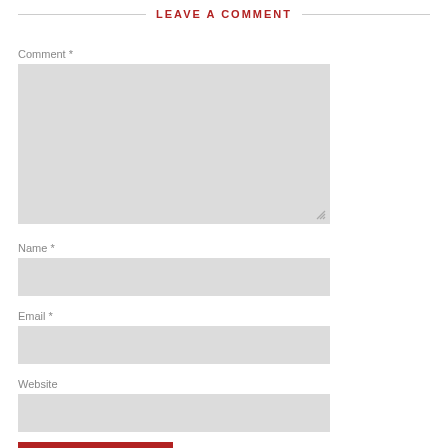LEAVE A COMMENT
Comment *
[Figure (other): Large comment textarea input box with resize handle]
Name *
[Figure (other): Name text input box]
Email *
[Figure (other): Email text input box]
Website
[Figure (other): Website text input box]
[Figure (other): Submit button (red)]